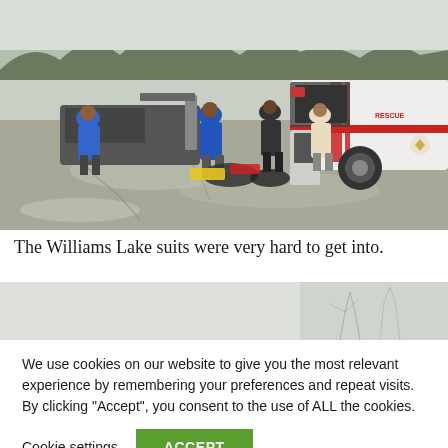[Figure (photo): Outdoor winter scene on an icy road. Several people in cold-weather gear unloading equipment from vehicles. A white rescue truck with red stripes is parked on the right. Snow-dusted trees and hills visible in the background.]
The Williams Lake suits were very hard to get into.
[Figure (photo): Partial strip showing the top of a second photo below, depicting a wintry outdoor scene with bare trees.]
We use cookies on our website to give you the most relevant experience by remembering your preferences and repeat visits. By clicking "Accept", you consent to the use of ALL the cookies.